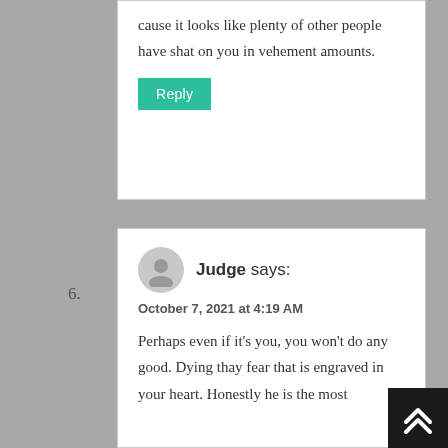cause it looks like plenty of other people have shat on you in vehement amounts.
Reply
6.
Judge says:
October 7, 2021 at 4:19 AM
Perhaps even if it's you, you won't do any good. Dying thay fear that is engraved in your heart. Honestly he is the most